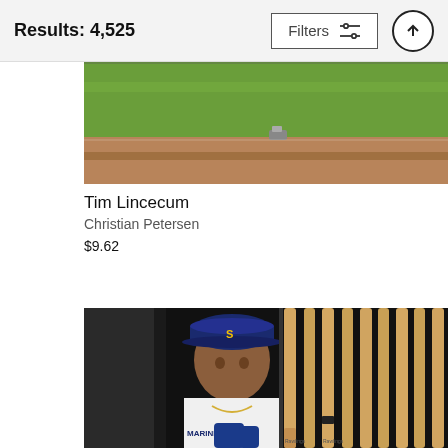Results: 4,525  Filters  ↑
[Figure (photo): Aerial/wide-angle photo of a baseball field with green grass and brown infield dirt, a vehicle visible near the outfield]
Tim Lincecum
Christian Petersen
$9.62
[Figure (photo): Young Ken Griffey Jr. in Seattle Mariners uniform and blue batting gloves, standing in the dugout surrounded by baseball bats]